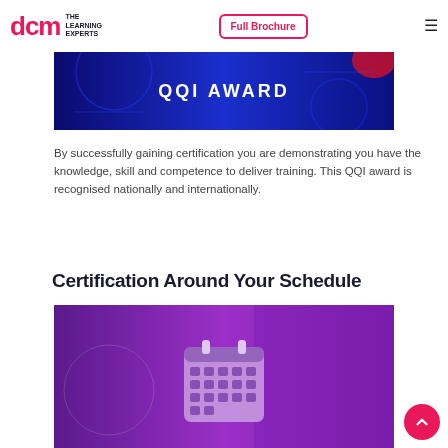dcm THE LEARNING EXPERTS | Full Brochure
[Figure (photo): Blue-tinted banner image with text QQI AWARD overlaid in white capital letters, showing a person with technology/circuit background]
By successfully gaining certification you are demonstrating you have the knowledge, skill and competence to deliver training. This QQI award is recognised nationally and internationally.
Certification Around Your Schedule
[Figure (photo): Purple-tinted banner image showing people working together with a calendar/schedule icon overlaid in the center]